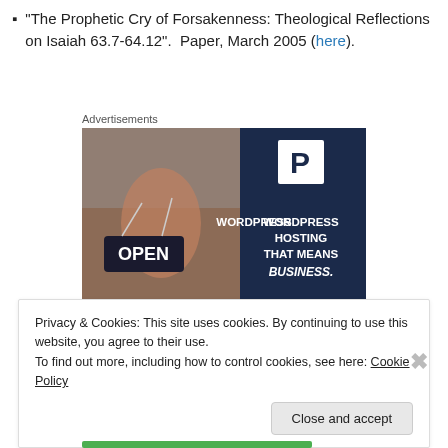"The Prophetic Cry of Forsakenness: Theological Reflections on Isaiah 63.7-64.12".  Paper, March 2005 (here).
Advertisements
[Figure (photo): WordPress hosting advertisement showing a woman holding an OPEN sign, with navy blue right panel displaying a P logo and text 'WORDPRESS HOSTING THAT MEANS BUSINESS.']
Privacy & Cookies: This site uses cookies. By continuing to use this website, you agree to their use.
To find out more, including how to control cookies, see here: Cookie Policy
Close and accept